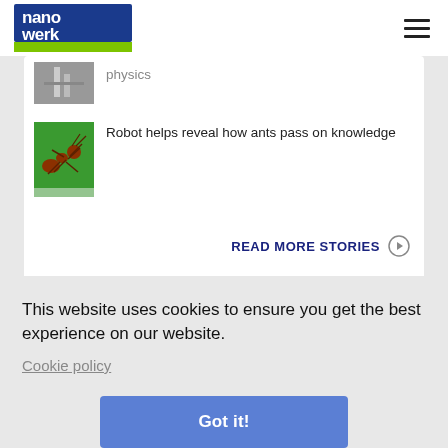[Figure (logo): Nanowerk logo — blue square background with white bold text 'nano werk', green bar underneath]
physics (partial, cropped at top)
[Figure (photo): Thumbnail photo of a red ant on a green background]
Robot helps reveal how ants pass on knowledge
READ MORE STORIES
This website uses cookies to ensure you get the best experience on our website.
Cookie policy
Got it!